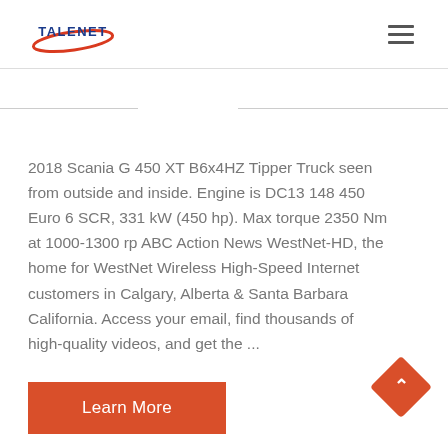[Figure (logo): TALENET company logo with red oval swoosh and blue text]
2018 Scania G 450 XT B6x4HZ Tipper Truck seen from outside and inside. Engine is DC13 148 450 Euro 6 SCR, 331 kW (450 hp). Max torque 2350 Nm at 1000-1300 rp ABC Action News WestNet-HD, the home for WestNet Wireless High-Speed Internet customers in Calgary, Alberta & Santa Barbara California. Access your email, find thousands of high-quality videos, and get the ...
Learn More